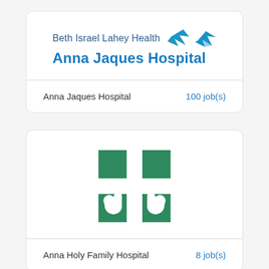[Figure (logo): Beth Israel Lahey Health Anna Jaques Hospital logo with blue bird/arrow icon and two-line text]
Anna Jaques Hospital    100 job(s)
[Figure (logo): Green cross/medical logo with hands raised underneath, on white background]
Anna Holy Family Hospital    8 job(s)